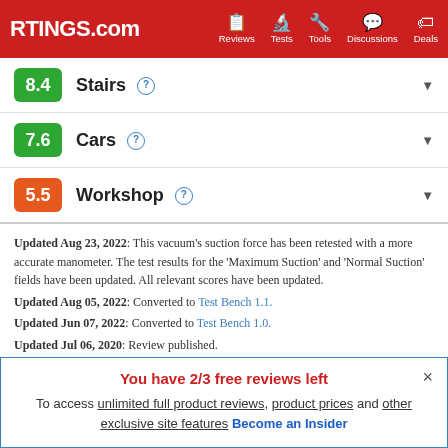RTINGS.com | Reviews | Tests | Tools | Discussions | Deals
8.4 Stairs
7.6 Cars
5.5 Workshop
Updated Aug 23, 2022: This vacuum's suction force has been retested with a more accurate manometer. The test results for the 'Maximum Suction' and 'Normal Suction' fields have been updated. All relevant scores have been updated. Updated Aug 05, 2022: Converted to Test Bench 1.1. Updated Jun 07, 2022: Converted to Test Bench 1.0. Updated Jul 06, 2020: Review published. Updated Jul 06, 2020: Early access published.
You have 2/3 free reviews left
To access unlimited full product reviews, product prices and other exclusive site features Become an Insider